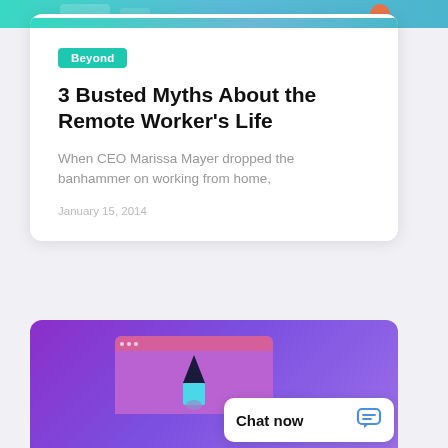[Figure (screenshot): Top colored banner strip with teal/blue gradient and decorative elements]
Beyond
3 Busted Myths About the Remote Worker's Life
When CEO Marissa Mayer dropped the banhammer on working from home,
January 15, 2014
[Figure (illustration): Purple/violet gradient card with browser mockup showing a rocket/crayon illustration, and a Chat now widget in the bottom right corner]